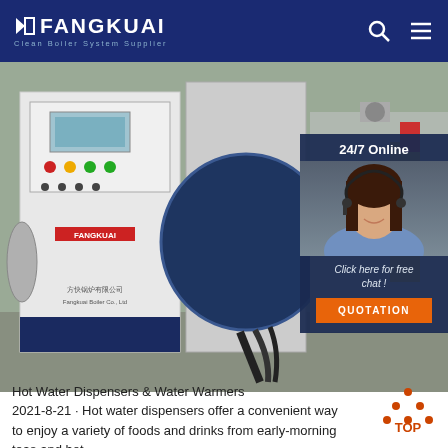FANGKUAI Clean Boiler System Supplier
[Figure (photo): Industrial boiler machine (FANGKUAI branded) with control panel on left side showing indicator lights and displays, large circular blue element in center, cables and pipes visible]
[Figure (photo): 24/7 Online customer service agent - woman wearing headset smiling, with overlay text 'Click here for free chat!' and orange QUOTATION button]
Hot Water Dispensers & Water Warmers
2021-8-21 · Hot water dispensers offer a convenient way to enjoy a variety of foods and drinks from early-morning teas and hot